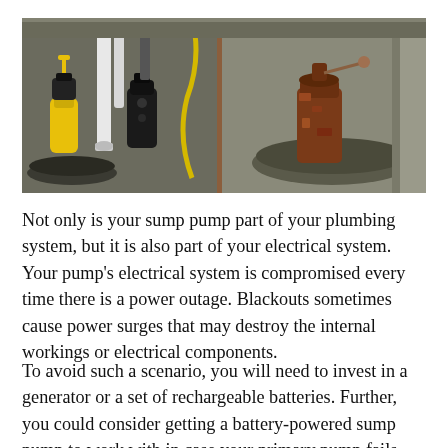[Figure (photo): A photograph showing sump pumps in a basement pit area. On the left is a yellow and black submersible sump pump with white PVC pipes. In the middle is a dark/black sump pump setup with piping. On the right is a rusty/corroded older sump pump sitting in a concrete basin. A yellow electrical cord is visible.]
Not only is your sump pump part of your plumbing system, but it is also part of your electrical system. Your pump's electrical system is compromised every time there is a power outage. Blackouts sometimes cause power surges that may destroy the internal workings or electrical components.
To avoid such a scenario, you will need to invest in a generator or a set of rechargeable batteries. Further, you could consider getting a battery-powered sump pump to work with in case your primary pump fails.